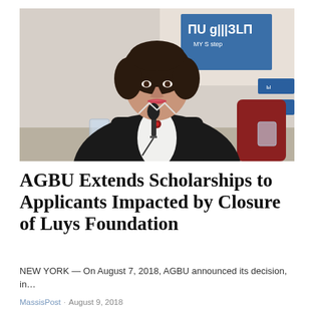[Figure (photo): A woman with dark curly hair, wearing a black jacket and white shirt with a decorative brooch, speaking at a conference table with a microphone in front of her. Behind her is a banner with Armenian text and 'MY STEP' visible. A red chair and glass of water are visible in the background.]
AGBU Extends Scholarships to Applicants Impacted by Closure of Luys Foundation
NEW YORK — On August 7, 2018, AGBU announced its decision, in…
MassisPost · August 9, 2018